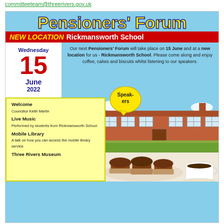committeeteam@threerivers.gov.uk
[Figure (infographic): Pensioners' Forum event flyer for Wednesday 15 June 2022 at Rickmansworth School. Shows date, event description, speakers list including Welcome by Councillor Keith Martin, Live Music by students from Rickmansworth School, Mobile Library talk, Three Rivers Museum. Includes photo of school building and muffins/coffee.]
Pensioners' Forum
NEW LOCATION Rickmansworth School
Wednesday 15 June 2022
Our next Pensioners' Forum will take place on 15 June and at a new location for us - Rickmansworth School. Please come along and enjoy coffee, cakes and biscuits whilst listening to our speakers.
Welcome
Councillor Keith Martin
Live Music
Performed by students from Rickmansworth School.
Mobile Library
A talk on how you can access the mobile library service.
Three Rivers Museum